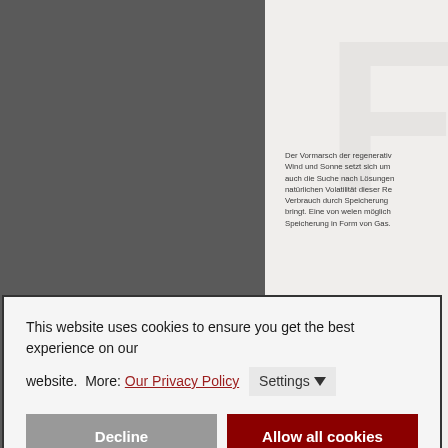[Figure (screenshot): Website screenshot background with dark gray left half and light right half, featuring a large stylized F watermark and German text about renewable energy]
Der Vormarsch der regenerativ... Wind und Sonne setzt sich um... auch die Suche nach Lösungen... natürlichen Volatilität dieser Re... Verbrauch durch Speicherung... bringt. Eine von welen möglich... Speicherung in Form von Gas.
This website uses cookies to ensure you get the best experience on our website.  More: Our Privacy Policy  Settings ▽
Decline
Allow all cookies